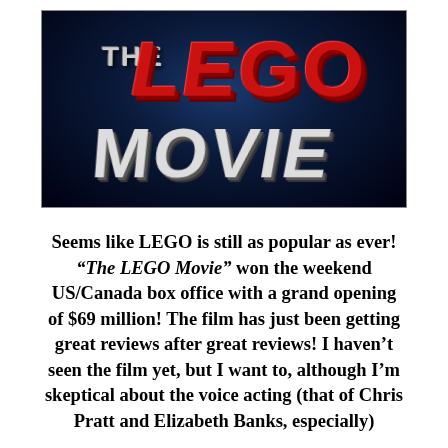[Figure (photo): Movie title logo for 'The LEGO Movie' — large red 3D block-letter LEGO text and white/gray MOVIE text on a dark blue-black radial gradient background, styled to look like the official film poster.]
Seems like LEGO is still as popular as ever! "The LEGO Movie" won the weekend US/Canada box office with a grand opening of $69 million! The film has just been getting great reviews after great reviews! I haven't seen the film yet, but I want to, although I'm skeptical about the voice acting (that of Chris Pratt and Elizabeth Banks, especially)